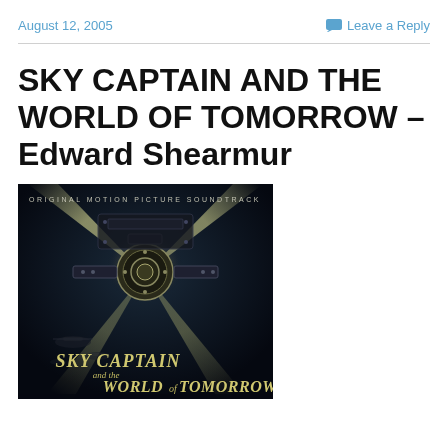August 12, 2005 | Leave a Reply
SKY CAPTAIN AND THE WORLD OF TOMORROW – Edward Shearmur
[Figure (photo): Album cover for Sky Captain and the World of Tomorrow original motion picture soundtrack. Shows a dark sci-fi scene with searchlights, mechanical/robotic imagery, and the text 'ORIGINAL MOTION PICTURE SOUNDTRACK' at top and 'SKY CAPTAIN and the WORLD of TOMORROW' at bottom.]